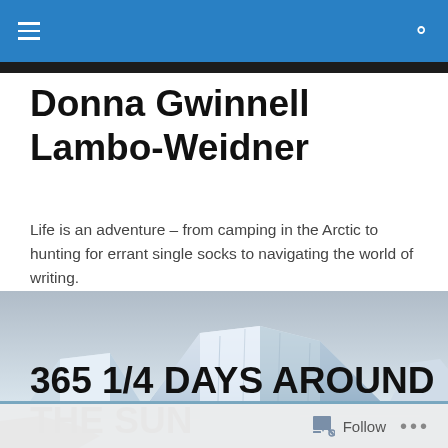Navigation bar with menu and search icons
Donna Gwinnell Lambo-Weidner
Life is an adventure – from camping in the Arctic to hunting for errant single socks to navigating the world of writing.
[Figure (photo): Panoramic photograph of large icebergs floating in arctic waters with a dark sky and rocky shoreline in the foreground.]
365 1/4 DAYS AROUND THE SUN
Follow  •••